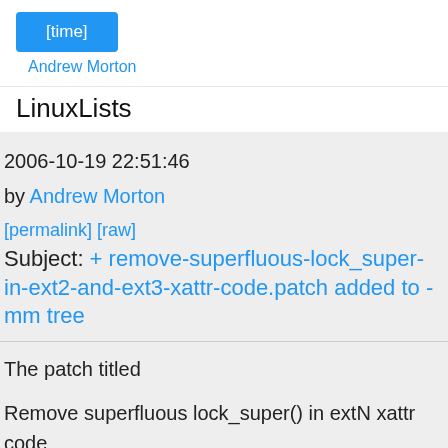[Figure (other): Blue button labeled [time]]
Andrew Morton
LinuxLists
2006-10-19 22:51:46
by Andrew Morton
[permalink] [raw]
Subject: + remove-superfluous-lock_super-in-ext2-and-ext3-xattr-code.patch added to -mm tree
The patch titled
Remove superfluous lock_super() in extN xattr code
has been added to the -mm tree. Its filename is